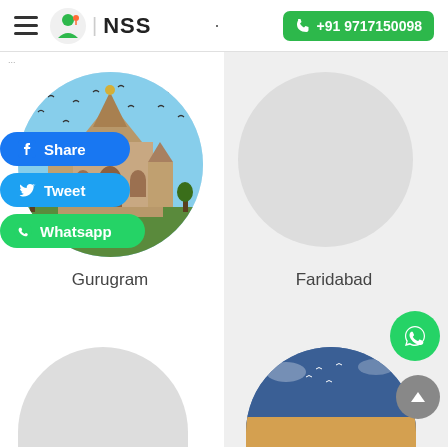NSS | +91 9717150098
[Figure (screenshot): NSS website screenshot showing city service cards for Gurugram and Faridabad with social share buttons (Facebook Share, Tweet, Whatsapp), circular city images, and navigation header with phone number +91 9717150098]
Share
Tweet
Whatsapp
Gurugram
Faridabad